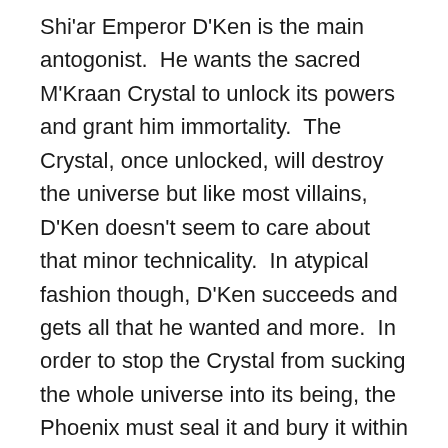Shi'ar Emperor D'Ken is the main antogonist.  He wants the sacred M'Kraan Crystal to unlock its powers and grant him immortality.  The Crystal, once unlocked, will destroy the universe but like most villains, D'Ken doesn't seem to care about that minor technicality.  In atypical fashion though, D'Ken succeeds and gets all that he wanted and more.  In order to stop the Crystal from sucking the whole universe into its being, the Phoenix must seal it and bury it within the heart of the sun so that no mortal may ever reach it.  Doing so will apparently destroy Jean (even though Phoenix appears to be the embodiment of flame, but whatever), so we get a very teary farewell that also feels rather rushed.  It's kind of odd that the conclusion of a plot that took up 5 episodes would be rushed, but just watch it.  Cyclops proves inconsolable back on earth once everything is wrapped up, and Lilandra is set to be